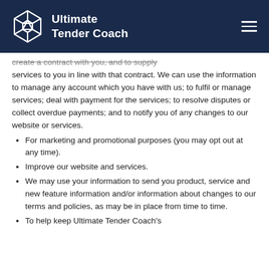[Figure (logo): Ultimate Tender Coach logo with geometric cube icon and white text on dark navy header]
create a contract with you, and to supply services to you in line with that contract. We can use the information to manage any account which you have with us; to fulfil or manage services; deal with payment for the services; to resolve disputes or collect overdue payments; and to notify you of any changes to our website or services.
For marketing and promotional purposes (you may opt out at any time).
Improve our website and services.
We may use your information to send you product, service and new feature information and/or information about changes to our terms and policies, as may be in place from time to time.
To help keep Ultimate Tender Coach's